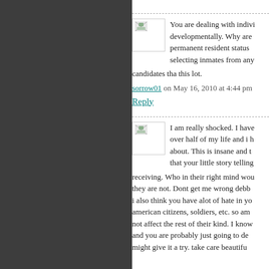[Figure (illustration): Avatar/profile image placeholder with broken image icon for first commenter]
You are dealing with indivi developmentally. Why are permanent resident status selecting inmates from any candidates tha this lot.
sorrow01 on May 16, 2010 at 4:44 pm
Reply
[Figure (illustration): Avatar/profile image placeholder with broken image icon for second commenter]
I am really shocked. I have over half of my life and i h about. This is insane and t that your little story telling receiving. Who in their right mind wou they are not. Dont get me wrong debb i also think you have alot of hate in yo american citizens, soldiers, etc. so am not affect the rest of their kind. I know and you are probably just going to de might give it a try. take care beautifu